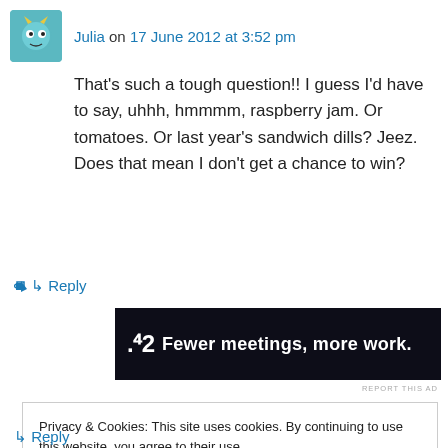Julia on 17 June 2012 at 3:52 pm
That's such a tough question!! I guess I'd have to say, uhhh, hmmmm, raspberry jam. Or tomatoes. Or last year's sandwich dills? Jeez. Does that mean I don't get a chance to win?
↳ Reply
[Figure (other): Advertisement banner with dark background showing logo and text: Fewer meetings, more work.]
REPORT THIS AD
Privacy & Cookies: This site uses cookies. By continuing to use this website, you agree to their use.
To find out more, including how to control cookies, see here: Cookie Policy
Close and accept
↳ Reply